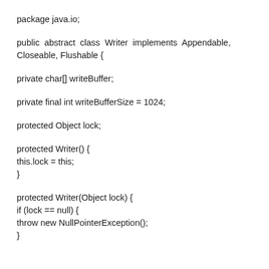package java.io;
public abstract class Writer implements Appendable, Closeable, Flushable {
private char[] writeBuffer;
private final int writeBufferSize = 1024;
protected Object lock;
protected Writer() {
this.lock = this;
}
protected Writer(Object lock) {
if (lock == null) {
throw new NullPointerException();
}